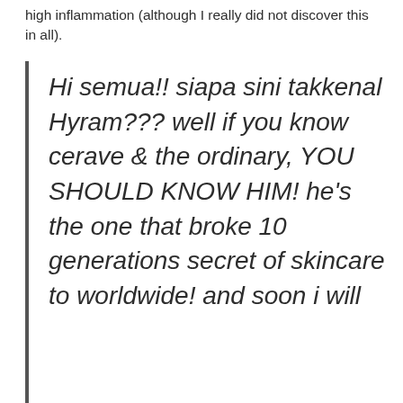high inflammation (although I really did not discover this in all).
Hi semua!! siapa sini takkenal Hyram??? well if you know cerave & the ordinary, YOU SHOULD KNOW HIM! he's the one that broke 10 generations secret of skincare to worldwide! and soon i will